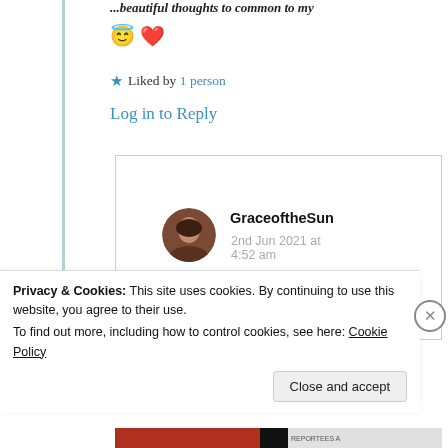...beautiful thoughts to common to my 😇❤️
★ Liked by 1 person
Log in to Reply
[Figure (photo): Circular avatar photo of GraceoftheSun, a person with dark skin and dark hair]
GraceoftheSun
2nd Jun 2021 at 4:52 am
Privacy & Cookies: This site uses cookies. By continuing to use this website, you agree to their use. To find out more, including how to control cookies, see here: Cookie Policy
Close and accept